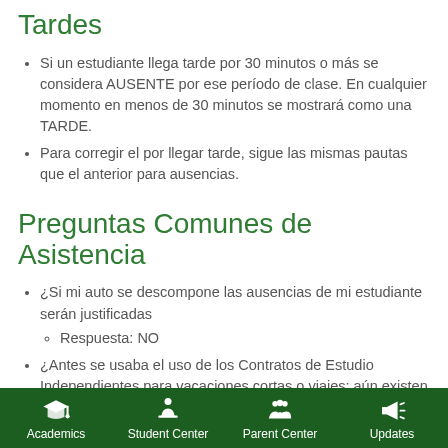Tardes
Si un estudiante llega tarde por 30 minutos o más se considera AUSENTE por ese período de clase. En cualquier momento en menos de 30 minutos se mostrará como una TARDE.
Para corregir el por llegar tarde, sigue las mismas pautas que el anterior para ausencias.
Preguntas Comunes de Asistencia
¿Si mi auto se descompone las ausencias de mi estudiante serán justificadas
  ◦ Respuesta: NO
¿Antes se usaba el uso de los Contratos de Estudio Independientes para vacaciones cortas o viajes; aún existen y son justificadas las ausencias de mi hijo?
  ◦ Respuesta: NO Todas las vacaciones son ahora ausencias injustificadas y hacer
Academics | Student Center | Parent Center | Updates